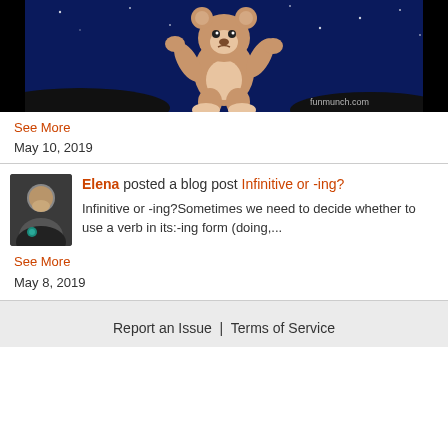[Figure (illustration): Animated teddy bear floating in a dark blue night sky with stars, watermark 'funmunch.com' in bottom right]
See More
May 10, 2019
Elena posted a blog post Infinitive or -ing?
Infinitive or -ing?Sometimes we need to decide whether to use a verb in its:-ing form (doing,...
See More
May 8, 2019
Report an Issue  |  Terms of Service